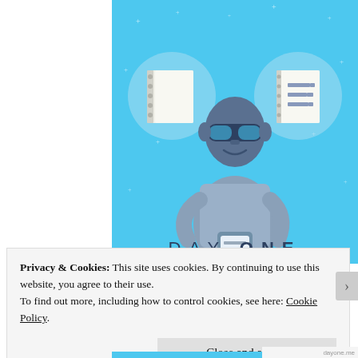[Figure (illustration): Day One app promotional illustration on blue background. Shows a person holding a smartphone, flanked by two circular icons: a spiral notebook on the left and a checklist/task list on the right. Stars scattered throughout the background. The text 'DAY ONE' appears at the bottom in spaced sans-serif letters.]
Privacy & Cookies: This site uses cookies. By continuing to use this website, you agree to their use.
To find out more, including how to control cookies, see here: Cookie Policy.
Close and accept